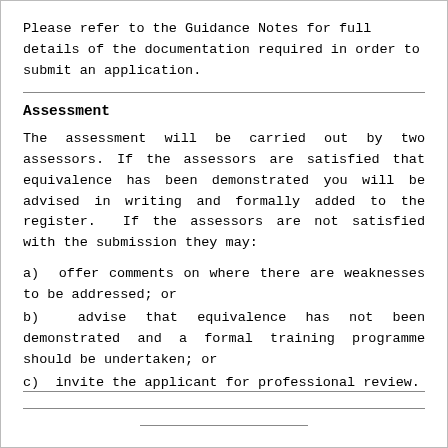Please refer to the Guidance Notes for full details of the documentation required in order to submit an application.
Assessment
The assessment will be carried out by two assessors. If the assessors are satisfied that equivalence has been demonstrated you will be advised in writing and formally added to the register.  If the assessors are not satisfied with the submission they may:
a)  offer comments on where there are weaknesses to be addressed; or
b)  advise that equivalence has not been demonstrated and a formal training programme should be undertaken; or
c)  invite the applicant for professional review.